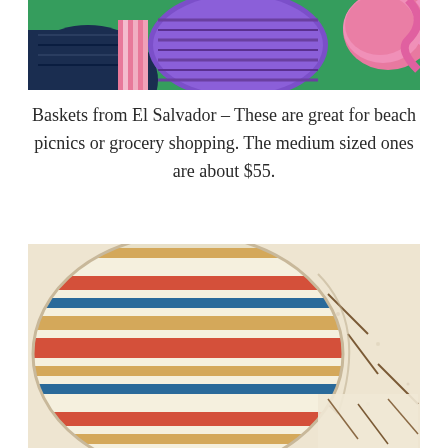[Figure (photo): Top portion of colorful woven baskets from El Salvador on green background, showing purple, pink, and dark blue baskets with decorative patterns]
Baskets from El Salvador – These are great for beach picnics or grocery shopping. The medium sized ones are about $55.
[Figure (photo): Close-up photo of a round striped pillow or cushion with colorful horizontal stripes (red, yellow, blue, cream) resting on a fluffy cream/beige Moroccan-style rug with geometric patterns]